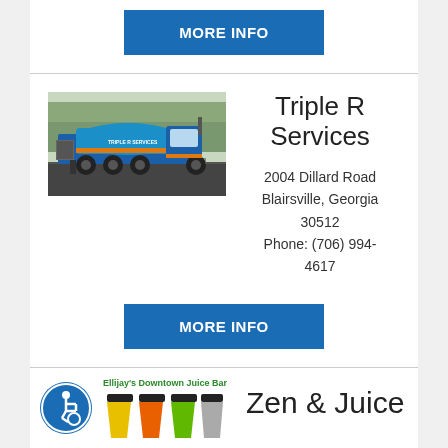MORE INFO
[Figure (photo): Blue tanker truck (Triple R Services) parked on a paved area with trees in the background]
Triple R Services
2004 Dillard Road
Blairsville, Georgia 30512
Phone: (706) 994-4617
MORE INFO
[Figure (logo): Accessibility icon - blue circular badge with wheelchair user symbol]
Ellijay's Downtown Juice Bar
[Figure (photo): Three juice cups with black lids and colorful (yellow, orange, green) drink visible]
Zen & Juice